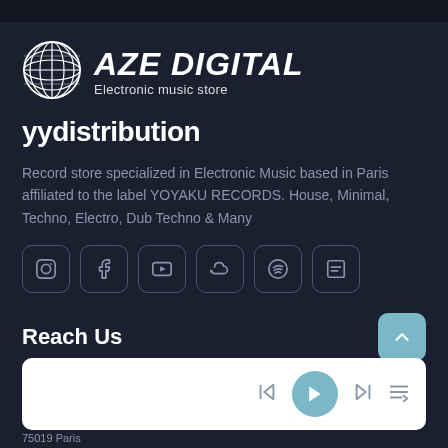[Figure (logo): AZE DIGITAL logo with globe icon and text 'AZE DIGITAL Electronic music store']
yydistribution
Record store specialized in Electronic Music based in Paris affiliated to the label YOYAKU RECORDS. House, Minimal, Techno, Electro, Dub Techno & Many
[Figure (infographic): Social media icon buttons: Instagram, Facebook, YouTube, SoundCloud, Spotify, and another icon]
Reach Us
[Figure (screenshot): Music player bar with play, skip, and queue controls]
75019 Paris